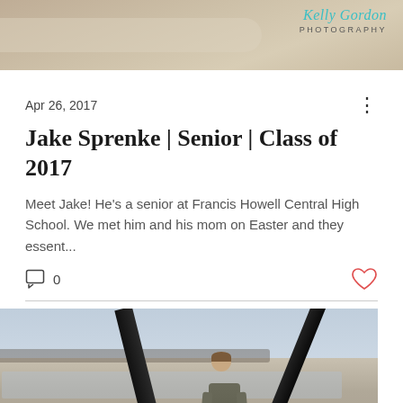[Figure (photo): Top banner photo with Kelly Gordon Photography logo overlay on a sandy/natural background]
Apr 26, 2017
Jake Sprenke | Senior | Class of 2017
Meet Jake! He's a senior at Francis Howell Central High School. We met him and his mom on Easter and they essent...
[Figure (photo): Young man standing outdoors near a river or waterway, framed by dark steel bridge beams, with a grey sky in the background]